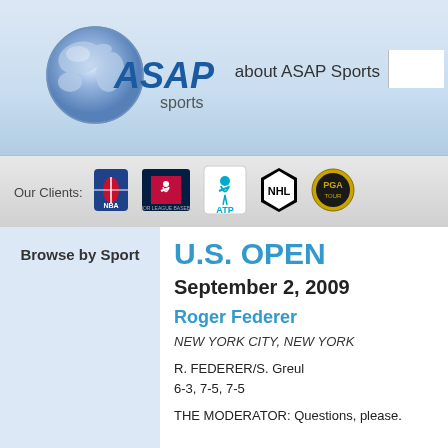[Figure (logo): ASAP Sports logo with globe graphic and text 'ASAP sports']
about ASAP Sports
[Figure (logo): NBA logo]
[Figure (logo): Major League Baseball logo]
[Figure (logo): ATP tennis logo]
[Figure (logo): NHL logo]
[Figure (logo): PGA logo]
Browse by Sport
U.S. OPEN
September 2, 2009
Roger Federer
NEW YORK CITY, NEW YORK
R. FEDERER/S. Greul
6-3, 7-5, 7-5
THE MODERATOR: Questions, please.